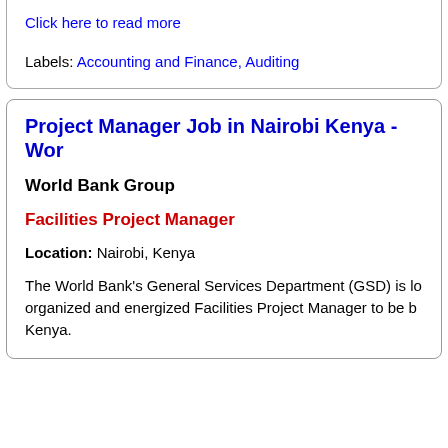Click here to read more
Labels: Accounting and Finance, Auditing
Project Manager Job in Nairobi Kenya - Wor
World Bank Group
Facilities Project Manager
Location: Nairobi, Kenya
The World Bank's General Services Department (GSD) is lo organized and energized Facilities Project Manager to be b Kenya.